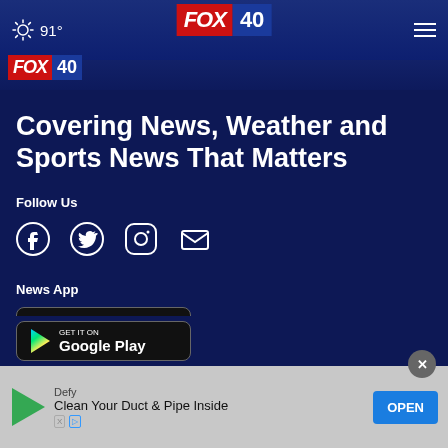91° FOX 40
[Figure (logo): FOX 40 logo with red FOX box and blue 40 box]
Covering News, Weather and Sports News That Matters
Follow Us
[Figure (infographic): Social media icons: Facebook, Twitter, Instagram, Email]
News App
[Figure (screenshot): Download on the App Store button (black rounded rectangle)]
[Figure (screenshot): Get it on Google Play button (black rounded rectangle)]
[Figure (infographic): Advertisement banner: Defy - Clean Your Duct & Pipe Inside - OPEN button, with close X button]